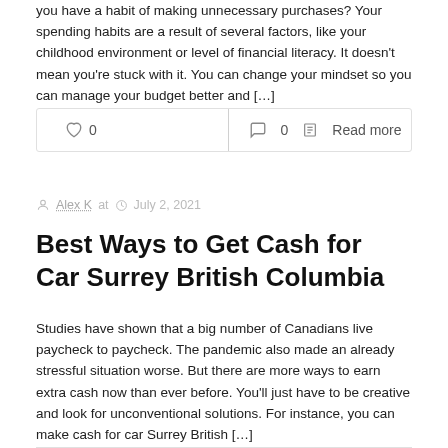you have a habit of making unnecessary purchases? Your spending habits are a result of several factors, like your childhood environment or level of financial literacy. It doesn't mean you're stuck with it. You can change your mindset so you can manage your budget better and […]
♡ 0   💬 0   📄 Read more
Alex K at  July 2, 2021
Best Ways to Get Cash for Car Surrey British Columbia
Studies have shown that a big number of Canadians live paycheck to paycheck. The pandemic also made an already stressful situation worse. But there are more ways to earn extra cash now than ever before. You'll just have to be creative and look for unconventional solutions. For instance, you can make cash for car Surrey British […]